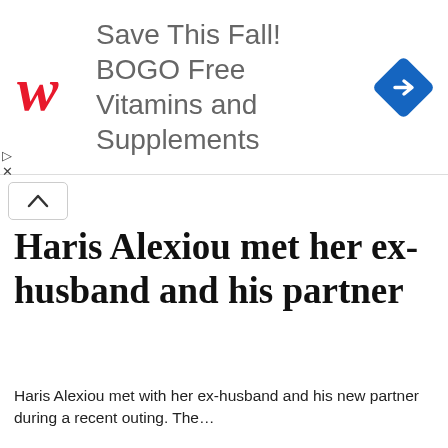[Figure (screenshot): Walgreens advertisement banner: red W logo on left, text 'Save This Fall! BOGO Free Vitamins and Supplements' in gray, blue diamond navigation icon on right]
Haris Alexiou met her ex-husband and his partner
Haris Alexiou met with her ex-husband and his new partner during a recent outing. The…
[Figure (photo): Blurred/out-of-focus photograph with soft gray and warm beige tones, content indistinct]